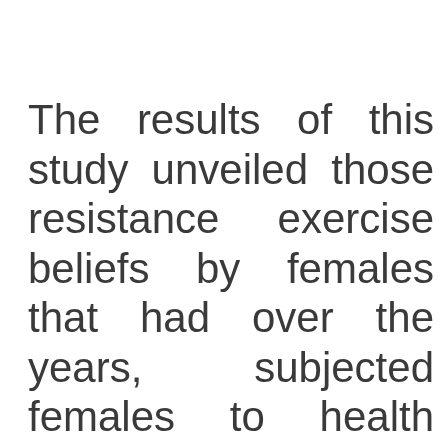The results of this study unveiled those resistance exercise beliefs by females that had over the years, subjected females to health and fitness disadvantage as females have always been victim of cultural and conditioning possibilities.